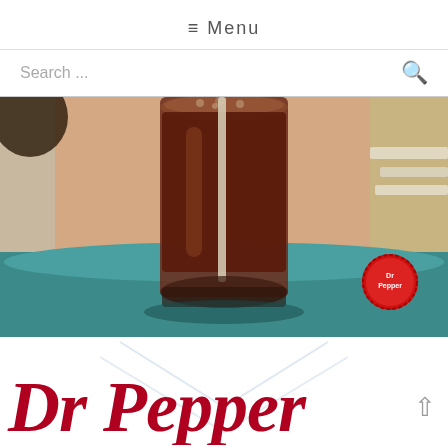≡ Menu
Search ...
[Figure (photo): A glass of dark soda (Dr Pepper) filled with ice sitting on a teal/turquoise surface outdoors. A Dr Pepper bottle cap is visible to the right of the glass. The background shows a sunny outdoor setting.]
Dr Pepper